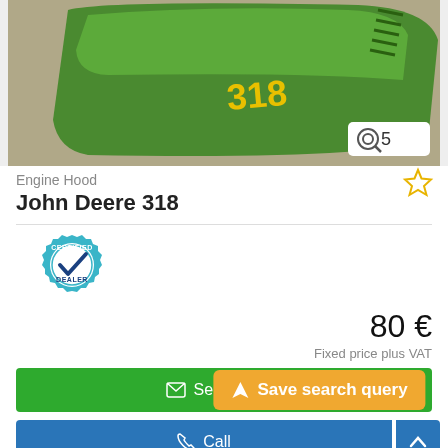[Figure (photo): Green John Deere 318 engine hood lying on concrete floor, showing the '318' logo in yellow letters on the green metal hood.]
Engine Hood
John Deere  318
[Figure (logo): Certified Dealer badge — teal gear icon with checkmark and text 'CERTIFIED DEALER']
80 €
Fixed price plus VAT
Send inquiry
Call
Wiefelstede, G
(dealership location)
6378 km
Save search query